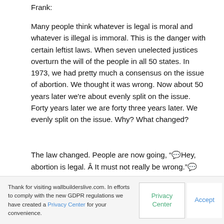Frank:
Many people think whatever is legal is moral and whatever is illegal is immoral. This is the danger with certain leftist laws. When seven unelected justices overturn the will of the people in all 50 states. In 1973, we had pretty much a consensus on the issue of abortion. We thought it was wrong. Now about 50 years later we're about evenly split on the issue. Forty years later we are forty three years later. We evenly split on the issue. Why? What changed?
The law changed. People are now going, "“Hey, abortion is legal. Â It must not really be wrong."”
Thank you for visiting wallbuilderslive.com. In efforts to comply with the new GDPR regulations we have created a Privacy Center for your convenience.